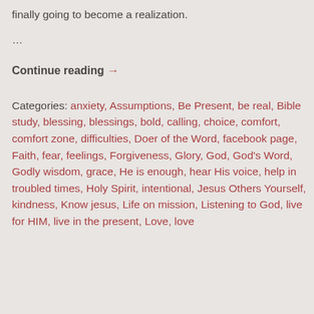finally going to become a realization.
…
Continue reading →
Categories: anxiety, Assumptions, Be Present, be real, Bible study, blessing, blessings, bold, calling, choice, comfort, comfort zone, difficulties, Doer of the Word, facebook page, Faith, fear, feelings, Forgiveness, Glory, God, God's Word, Godly wisdom, grace, He is enough, hear His voice, help in troubled times, Holy Spirit, intentional, Jesus Others Yourself, kindness, Know jesus, Life on mission, Listening to God, live for HIM, live in the present, Love, love …Mighty God…